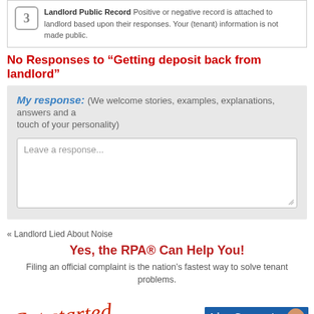Landlord Public Record Positive or negative record is attached to landlord based upon their responses. Your (tenant) information is not made public.
No Responses to “Getting deposit back from landlord”
My response: (We welcome stories, examples, explanations, answers and a touch of your personality)
Leave a response...
« Landlord Lied About Noise
Yes, the RPA® Can Help You!
Filing an official complaint is the nation’s fastest way to solve tenant problems.
[Figure (illustration): Handwritten-style 'Get started' text with a curved red arrow pointing downward]
[Figure (screenshot): Live Support ONLINE banner with blue and orange background and a person smiling]